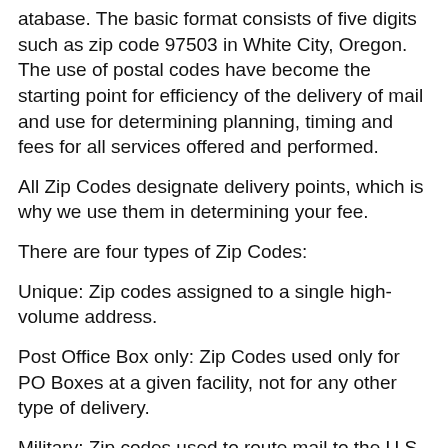atabase. The basic format consists of five digits such as zip code 97503 in White City, Oregon. The use of postal codes have become the starting point for efficiency of the delivery of mail and use for determining planning, timing and fees for all services offered and performed.
All Zip Codes designate delivery points, which is why we use them in determining your fee.
There are four types of Zip Codes:
Unique: Zip codes assigned to a single high-volume address.
Post Office Box only: Zip Codes used only for PO Boxes at a given facility, not for any other type of delivery.
Military: Zip codes used to route mail to the U.S. military.